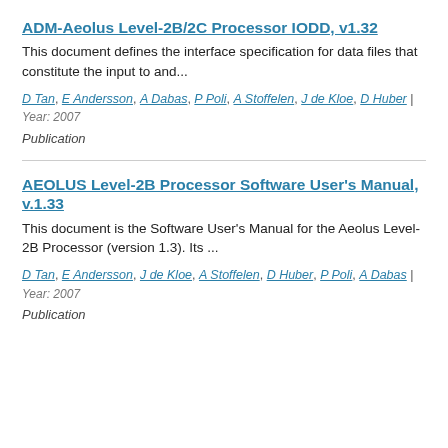ADM-Aeolus Level-2B/2C Processor IODD, v1.32
This document defines the interface specification for data files that constitute the input to and...
D Tan, E Andersson, A Dabas, P Poli, A Stoffelen, J de Kloe, D Huber | Year: 2007
Publication
AEOLUS Level-2B Processor Software User's Manual, v.1.33
This document is the Software User's Manual for the Aeolus Level-2B Processor (version 1.3). Its ...
D Tan, E Andersson, J de Kloe, A Stoffelen, D Huber, P Poli, A Dabas | Year: 2007
Publication